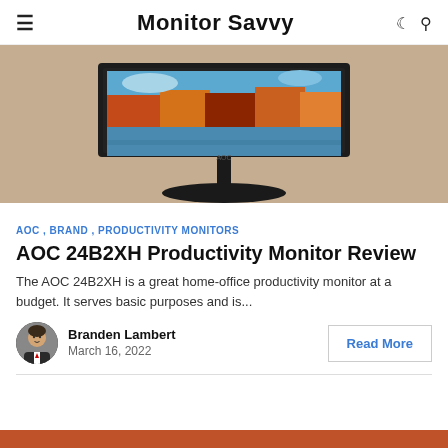Monitor Savvy
[Figure (photo): AOC 24B2XH monitor on a beige/tan background, showing an autumn landscape on the screen.]
AOC , BRAND , PRODUCTIVITY MONITORS
AOC 24B2XH Productivity Monitor Review
The AOC 24B2XH is a great home-office productivity monitor at a budget. It serves basic purposes and is...
Branden Lambert
March 16, 2022
Read More